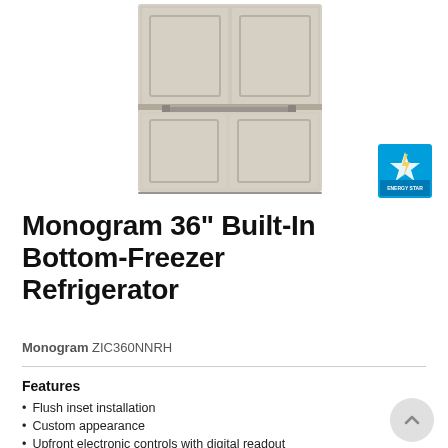[Figure (photo): Monogram 36-inch built-in bottom-freezer refrigerator with custom panel doors in cream/beige finish, showing upper French door section and lower freezer drawer with bar handle]
[Figure (logo): ENERGY STAR certification badge in blue and white]
Monogram 36" Built-In Bottom-Freezer Refrigerator
Monogram ZIC360NNRH
Features
Flush inset installation
Custom appearance
Upfront electronic controls with digital readout
Humidity controlled vegetable compartments and sealed